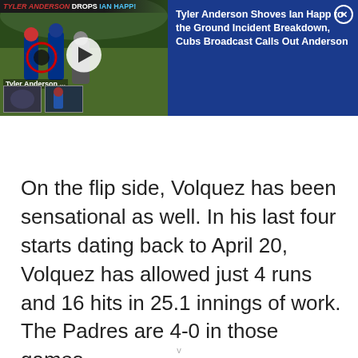[Figure (screenshot): Video ad banner showing Tyler Anderson shoving Ian Happ, with blue background and article title text on the right side.]
On the flip side, Volquez has been sensational as well. In his last four starts dating back to April 20, Volquez has allowed just 4 runs and 16 hits in 25.1 innings of work. The Padres are 4-0 in those games.